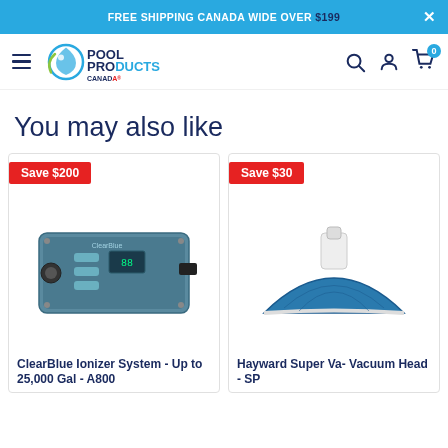FREE SHIPPING CANADA WIDE OVER $199
[Figure (logo): Pool Products Canada logo with circular water droplet graphic]
You may also like
[Figure (photo): ClearBlue Ionizer System - Up to 25,000 Gal - A800 product image with Save $200 badge]
ClearBlue Ionizer System - Up to 25,000 Gal - A800
[Figure (photo): Hayward Super Vac Vacuum Head - SP partial product image with Save $30 badge]
Hayward Super Va- Vacuum Head - SP